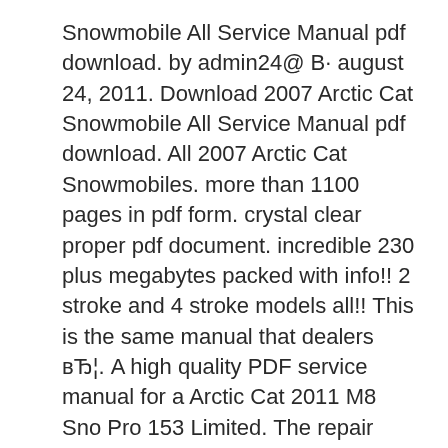Snowmobile All Service Manual pdf download. by admin24@ В· august 24, 2011. Download 2007 Arctic Cat Snowmobile All Service Manual pdf download. All 2007 Arctic Cat Snowmobiles. more than 1100 pages in pdf form. crystal clear proper pdf document. incredible 230 plus megabytes packed with info!! 2 stroke and 4 stroke models all!! This is the same manual that dealers вЂ¦. A high quality PDF service manual for a Arctic Cat 2011 M8 Sno Pro 153 Limited. The repair manual download will show you every nut and bolt on your machine and will direct you on every mechanical procedure imaginable..